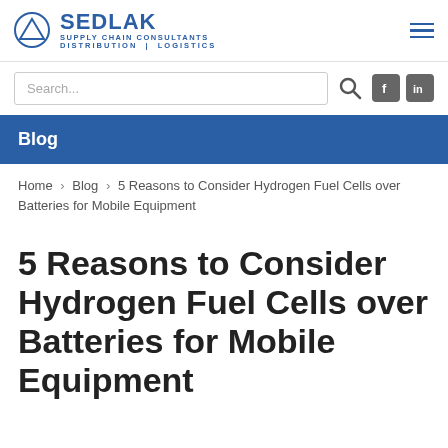SEDLAK SUPPLY CHAIN CONSULTANTS DISTRIBUTION | LOGISTICS
Search...
Blog
Home > Blog > 5 Reasons to Consider Hydrogen Fuel Cells over Batteries for Mobile Equipment
5 Reasons to Consider Hydrogen Fuel Cells over Batteries for Mobile Equipment